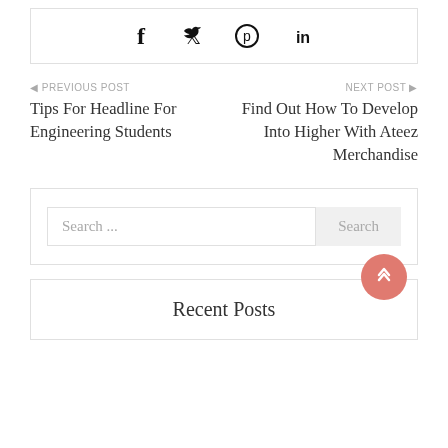[Figure (other): Social share icons: Facebook (f), Twitter (bird), Pinterest (p in circle), LinkedIn (in)]
◄ PREVIOUS POST
Tips For Headline For Engineering Students
NEXT POST ►
Find Out How To Develop Into Higher With Ateez Merchandise
Search ...
Search
Recent Posts